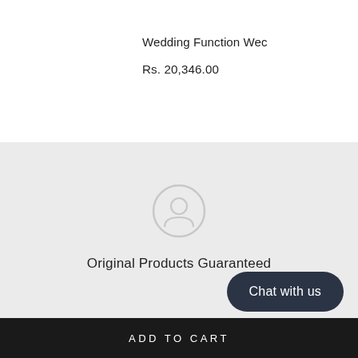Wedding Function Wec
Rs. 20,346.00
[Figure (illustration): Shield/guarantee icon - a circular icon with a face or shield symbol in light grey]
Original Products Guaranteed
Custom Tailoring Service
Chat with us
ADD TO CART